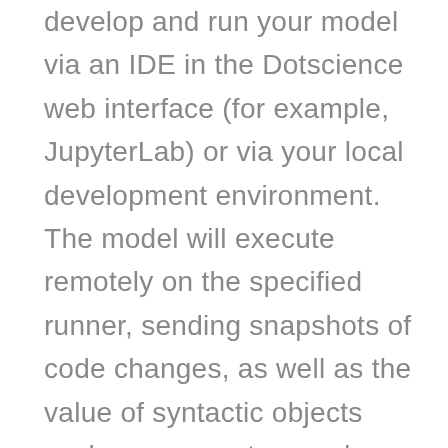develop and run your model via an IDE in the Dotscience web interface (for example, JupyterLab) or via your local development environment. The model will execute remotely on the specified runner, sending snapshots of code changes, as well as the value of syntactic objects such as parameters and summary statistics, back to Dotscience's web interface for storage and visualisation.